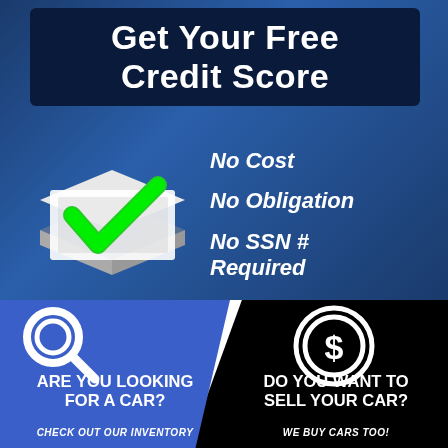Get Your Free Credit Score
No Cost
No Obligation
No SSN # Required
[Figure (infographic): 3D checkbox with green checkmark illustration]
ARE YOU LOOKING FOR A CAR?
CHECK OUT OUR INVENTORY
DO YOU WANT TO SELL YOUR CAR?
WE BUY CARS TOO!